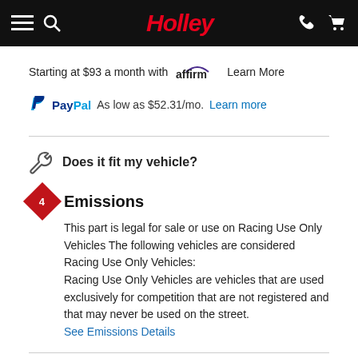Holley
Starting at $93 a month with affirm Learn More
PayPal As low as $52.31/mo. Learn more
Does it fit my vehicle?
Emissions
This part is legal for sale or use on Racing Use Only Vehicles The following vehicles are considered Racing Use Only Vehicles:
Racing Use Only Vehicles are vehicles that are used exclusively for competition that are not registered and that may never be used on the street.
See Emissions Details